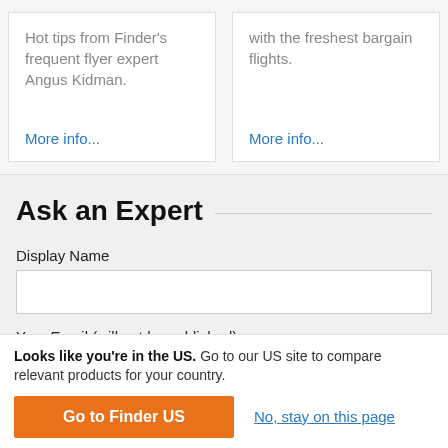Hot tips from Finder's frequent flyer expert Angus Kidman.
More info...
with the freshest bargain flights.
More info...
Ask an Expert
Display Name
Your Email (will not be published)
Looks like you're in the US. Go to our US site to compare relevant products for your country.
Go to Finder US
No, stay on this page